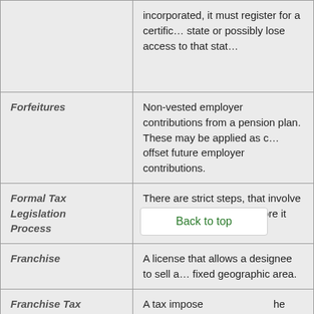| Term | Definition |
| --- | --- |
|  | incorporated, it must register for a certificate of authority in each state or possibly lose access to that state… |
| Forfeitures | Non-vested employer contributions from a pension plan. These may be applied as credits to offset future employer contributions. |
| Formal Tax Legislation Process | There are strict steps, that involve the President, a tax bill must pass through before it becomes a law. |
| Franchise | A license that allows a designee to sell a product or service in a fixed geographic area. |
| Franchise Tax | A tax imposed on… the privilege… The value of the franchise tax may be measured by capital or stock or by amount of business done. |
| Fringe Benefits | Opportunities and services offered beyond employment. Common fringe benefits inc… |